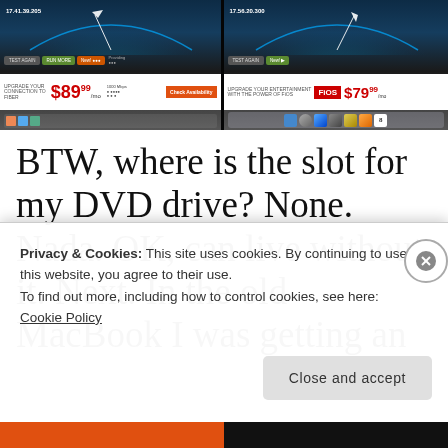[Figure (screenshot): Two side-by-side screenshots of monitor/TV displays showing internet speed test results and advertisements. Left screen shows '$89.99/mo' pricing. Right screen shows FiOS branding with '$79.99' pricing and macOS dock icons.]
BTW, where is the slot for my DVD drive? None. Nada. OK, can live without it. Next. In the old MacBook I was getting an electric power from
Privacy & Cookies: This site uses cookies. By continuing to use this website, you agree to their use.
To find out more, including how to control cookies, see here:
Cookie Policy
Close and accept